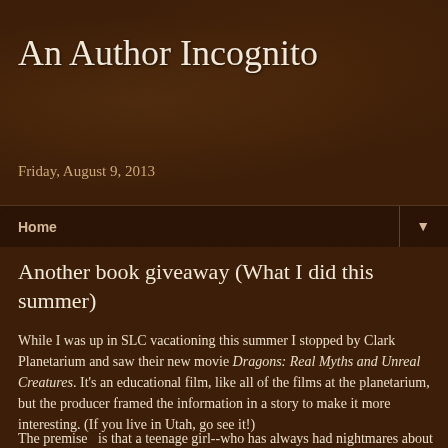An Author Incognito
Home ▼
Friday, August 9, 2013
Another book giveaway (What I did this summer)
While I was up in SLC vacationing this summer I stopped by Clark Planetarium and saw their new movie Dragons: Real Myths and Unreal Creatures. It's an educational film, like all of the films at the planetarium, but the producer framed the information in a story to make it more interesting. (If you live in Utah, go see it!)
The premise  is that a teenage girl--who has always had nightmares about dragons to the point that it's an obsession